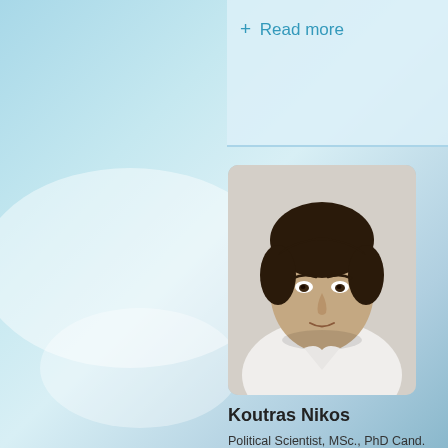+ Read more
[Figure (photo): Portrait photo of Koutras Nikos, a young man with dark hair wearing a white shirt]
Koutras Nikos
Political Scientist, MSc., PhD Cand.
University of Crete, Greece
Paper: Freedom of teaching in Greek universities according to academia's perspective
Authors: Iliana Araka, Nikos Koutras,
Koutras Nikos abstract